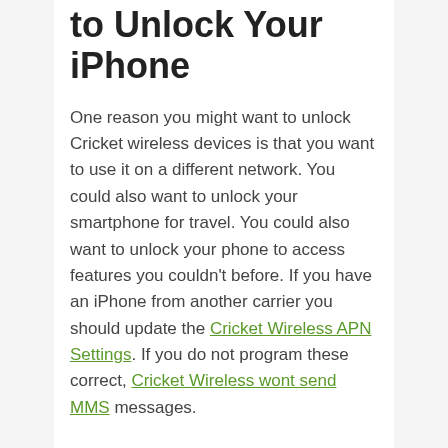to Unlock Your iPhone
One reason you might want to unlock Cricket wireless devices is that you want to use it on a different network. You could also want to unlock your smartphone for travel. You could also want to unlock your phone to access features you couldn't before. If you have an iPhone from another carrier you should update the Cricket Wireless APN Settings. If you do not program these correct, Cricket Wireless wont send MMS messages.
How to Unlock a